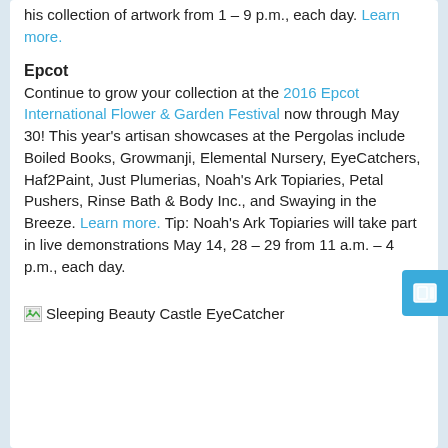his collection of artwork from 1 – 9 p.m., each day. Learn more.
Epcot
Continue to grow your collection at the 2016 Epcot International Flower & Garden Festival now through May 30! This year's artisan showcases at the Pergolas include Boiled Books, Growmanji, Elemental Nursery, EyeCatchers, Haf2Paint, Just Plumerias, Noah's Ark Topiaries, Petal Pushers, Rinse Bath & Body Inc., and Swaying in the Breeze. Learn more. Tip: Noah's Ark Topiaries will take part in live demonstrations May 14, 28 – 29 from 11 a.m. – 4 p.m., each day.
[Figure (photo): Broken image placeholder labeled 'Sleeping Beauty Castle EyeCatcher']